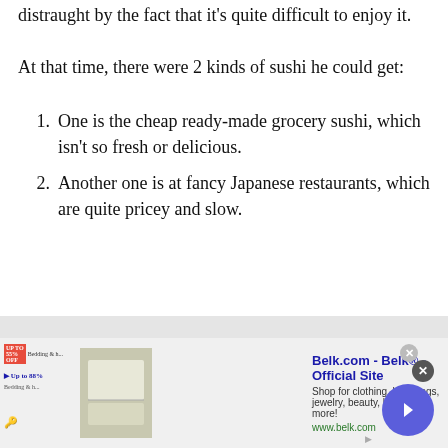distraught by the fact that it's quite difficult to enjoy it.
At that time, there were 2 kinds of sushi he could get:
One is the cheap ready-made grocery sushi, which isn't so fresh or delicious.
Another one is at fancy Japanese restaurants, which are quite pricey and slow.